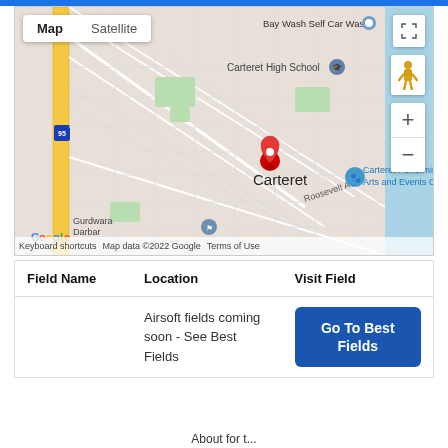[Figure (map): Google Maps screenshot showing Carteret, NJ area with a red location pin, street grid, Carteret High School, Carteret Performing Arts and Events Center, Gurdwara Darbar, Bay Wash Self Car Wash, Roosevelt Ave, and map controls (Map/Satellite toggle, zoom +/-, fullscreen, pegman).]
| Field Name | Location | Visit Field |
| --- | --- | --- |
|  | Airsoft fields coming soon - See Best Fields | Go To Best Fields |
About for t...